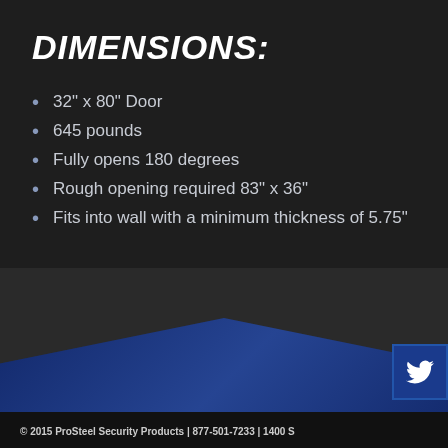DIMENSIONS:
32" x 80" Door
645 pounds
Fully opens 180 degrees
Rough opening required 83" x 36"
Fits into wall with a minimum thickness of 5.75"
[Figure (illustration): Blue chevron/arrow decorative graphic with dark textured background]
© 2015 ProSteel Security Products | 877-501-7233 | 1400 S